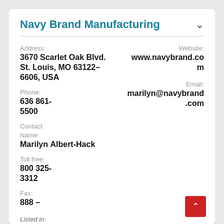Navy Brand Manufacturing
Address: 3670 Scarlet Oak Blvd. St. Louis, MO 63122-6606, USA
Website: www.navybrand.com
Phone: 636 861-5500
Email: marilyn@navybrand.com
Contact Name: Marilyn Albert-Hack
Toll free: 800 325-3312
Fax: 888 -
Listed in: